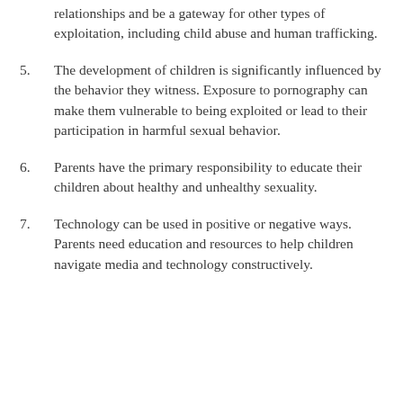relationships and be a gateway for other types of exploitation, including child abuse and human trafficking.
5. The development of children is significantly influenced by the behavior they witness. Exposure to pornography can make them vulnerable to being exploited or lead to their participation in harmful sexual behavior.
6. Parents have the primary responsibility to educate their children about healthy and unhealthy sexuality.
7. Technology can be used in positive or negative ways. Parents need education and resources to help children navigate media and technology constructively.